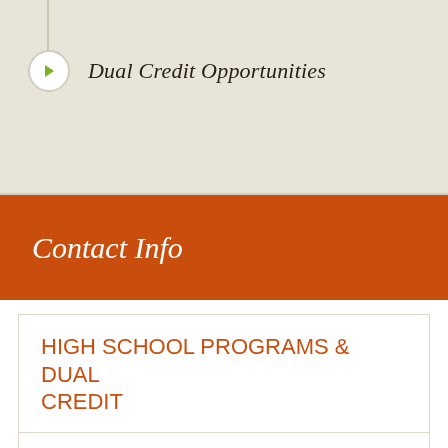Dual Credit Opportunities
Contact Info
HIGH SCHOOL PROGRAMS & DUAL CREDIT
High School Partnerships
Salem Bldg. 49, Rm. 102
503.399.5293
Email
Woodburn Center
Woodburn Rm. 101A